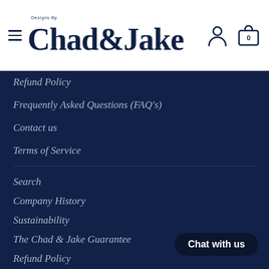Designs By Chad & Jake
Refund Policy
Frequently Asked Questions (FAQ's)
Contact us
Terms of Service
Search
Company History
Sustainability
The Chad & Jake Guarantee
Refund Policy
Frequently Asked Questions (FAQ's)
Chat with us